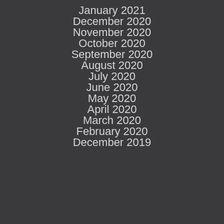January 2021
December 2020
November 2020
October 2020
September 2020
August 2020
July 2020
June 2020
May 2020
April 2020
March 2020
February 2020
December 2019